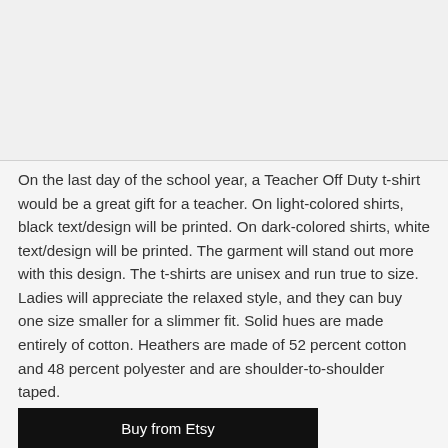[Figure (photo): Top portion of the page showing a light gray image area (product image area, content cut off)]
On the last day of the school year, a Teacher Off Duty t-shirt would be a great gift for a teacher. On light-colored shirts, black text/design will be printed. On dark-colored shirts, white text/design will be printed. The garment will stand out more with this design. The t-shirts are unisex and run true to size. Ladies will appreciate the relaxed style, and they can buy one size smaller for a slimmer fit. Solid hues are made entirely of cotton. Heathers are made of 52 percent cotton and 48 percent polyester and are shoulder-to-shoulder taped.
Buy from Etsy